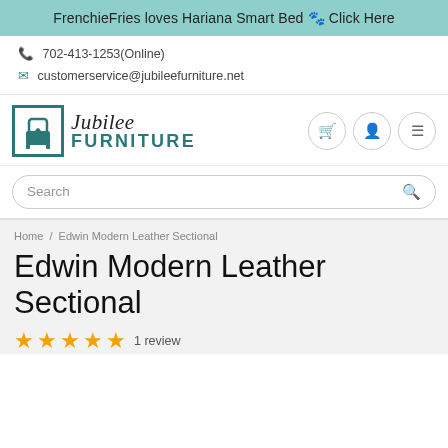FrenchieFries loves Hariana Smart Bed 🐾 Click Here
📞 702-413-1253(Online)
✉ customerservice@jubileefurniture.net
[Figure (logo): Jubilee Furniture logo with teal chair icon in a bordered square and stylized text 'Jubilee FURNITURE']
Search
Home / Edwin Modern Leather Sectional
Edwin Modern Leather Sectional
★★★★★ 1 review